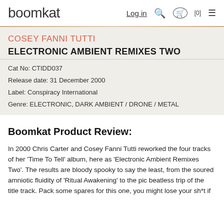boomkat  Log in  [0]
COSEY FANNI TUTTI
ELECTRONIC AMBIENT REMIXES TWO
Cat No: CTIDD037
Release date: 31 December 2000
Label: Conspiracy International
Genre: ELECTRONIC, DARK AMBIENT / DRONE / METAL
Boomkat Product Review:
In 2000 Chris Carter and Cosey Fanni Tutti reworked the four tracks of her 'Time To Tell' album, here as 'Electronic Ambient Remixes Two'. The results are bloody spooky to say the least, from the soured amniotic fluidity of 'Ritual Awakening' to the pic beatless trip of the title track. Pack some spares for this one, you might lose your sh*t if